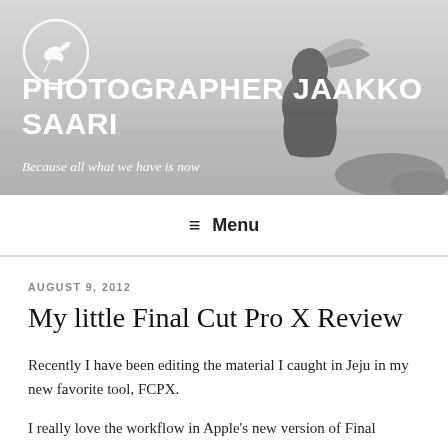[Figure (photo): Grayscale header photo of a person (back view, hair blowing) against a misty coastal background, with a dove/bird logo circle in the top left]
PHOTOGRAPHER JAAKKO SAARI
Because all what we have is now
≡ Menu
AUGUST 9, 2012
My little Final Cut Pro X Review
Recently I have been editing the material I caught in Jeju in my new favorite tool, FCPX.
I really love the workflow in Apple's new version of Final